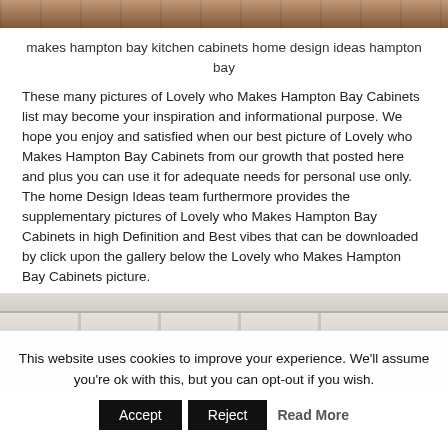[Figure (photo): Top portion of a kitchen cabinet photo, dark wood tones]
makes hampton bay kitchen cabinets home design ideas hampton bay
These many pictures of Lovely who Makes Hampton Bay Cabinets list may become your inspiration and informational purpose. We hope you enjoy and satisfied when our best picture of Lovely who Makes Hampton Bay Cabinets from our growth that posted here and plus you can use it for adequate needs for personal use only. The home Design Ideas team furthermore provides the supplementary pictures of Lovely who Makes Hampton Bay Cabinets in high Definition and Best vibes that can be downloaded by click upon the gallery below the Lovely who Makes Hampton Bay Cabinets picture.
[Figure (photo): Bottom portion of white/cream kitchen cabinets with paneled doors]
This website uses cookies to improve your experience. We'll assume you're ok with this, but you can opt-out if you wish. Accept Reject Read More